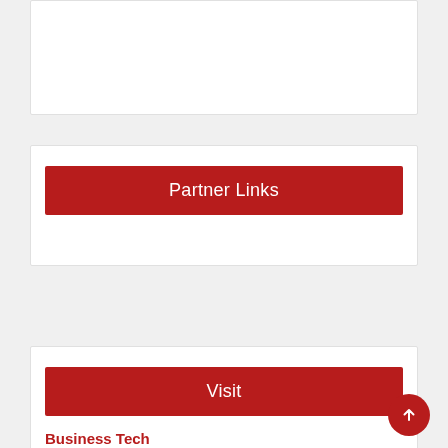[Figure (screenshot): Top white card panel, partially visible]
Partner Links
Visit
Business Tech